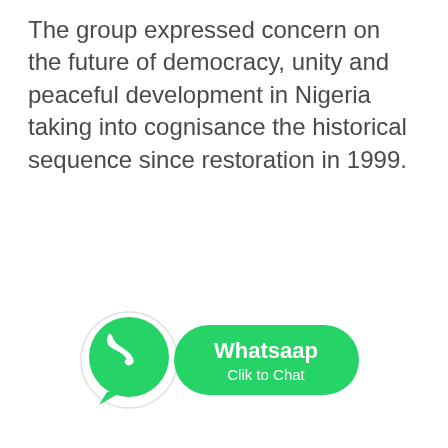The group expressed concern on the future of democracy, unity and peaceful development in Nigeria taking into cognisance the historical sequence since restoration in 1999.
[Figure (logo): WhatsApp button with green circular WhatsApp icon on the left and a green rounded rectangle button on the right showing 'Whatsaap' in bold white text and 'Clik to Chat' in smaller white text below it.]